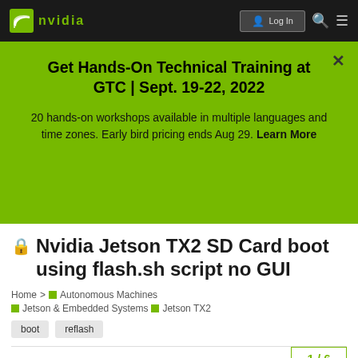[Figure (screenshot): NVIDIA website navigation bar with NVIDIA logo on left and login, search, and menu icons on right]
Get Hands-On Technical Training at GTC | Sept. 19-22, 2022
20 hands-on workshops available in multiple languages and time zones. Early bird pricing ends Aug 29. Learn More
🔒 Nvidia Jetson TX2 SD Card boot using flash.sh script no GUI
Home > Autonomous Machines > Jetson & Embedded Systems > Jetson TX2
boot
reflash